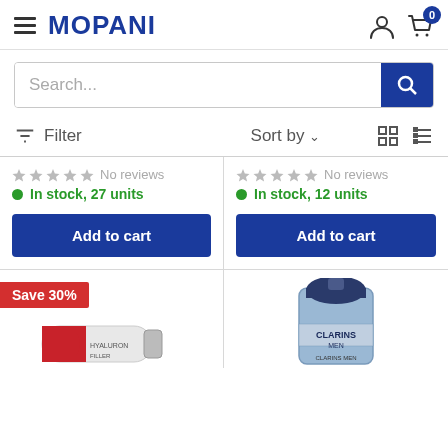MOPANI
Search...
Filter   Sort by   [grid view] [list view]
No reviews
In stock, 27 units
Add to cart
No reviews
In stock, 12 units
Add to cart
Save 30%
[Figure (photo): Hyaluron filler tube product image (partially visible at bottom left)]
[Figure (photo): Clarins Men skincare bottle product image (partially visible at bottom right)]